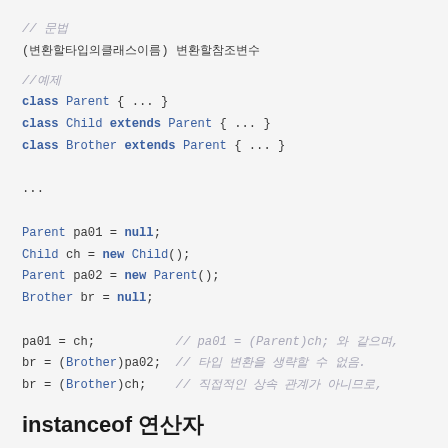// 문법
(변환할타입의클래스이름) 변환할참조변수
//예제
class Parent { ... }
class Child extends Parent { ... }
class Brother extends Parent { ... }

...

Parent pa01 = null;
Child ch = new Child();
Parent pa02 = new Parent();
Brother br = null;

pa01 = ch;           // pa01 = (Parent)ch; 와 같으며,
br = (Brother)pa02;  // 타입 변환을 생략할 수 없음.
br = (Brother)ch;    // 직접적인 상속 관계가 아니므로,
instanceof 연산자